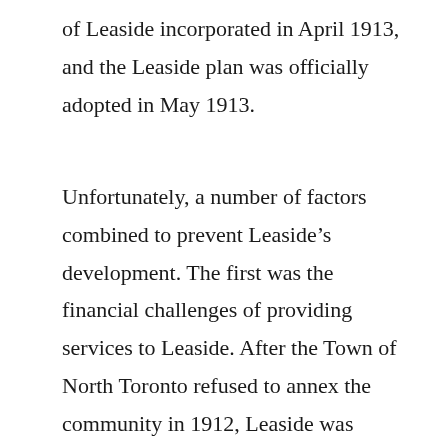of Leaside incorporated in April 1913, and the Leaside plan was officially adopted in May 1913.
Unfortunately, a number of factors combined to prevent Leaside's development. The first was the financial challenges of providing services to Leaside. After the Town of North Toronto refused to annex the community in 1912, Leaside was obliged to take on over $150,000 in debt to pay for services. The second challenge was the extremely isolated